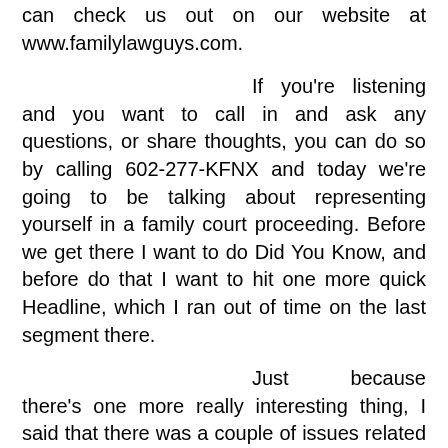can check us out on our website at www.familylawguys.com.
If you're listening and you want to call in and ask any questions, or share thoughts, you can do so by calling 602-277-KFNX and today we're going to be talking about representing yourself in a family court proceeding. Before we get there I want to do Did You Know, and before do that I want to hit one more quick Headline, which I ran out of time on the last segment there.
Just because there's one more really interesting thing, I said that there was a couple of issues related to the homosexual rights legality issues that have